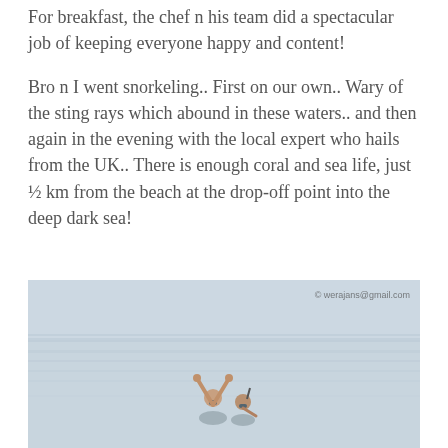For breakfast, the chef n his team did a spectacular job of keeping everyone happy and content!
Bro n I went snorkeling.. First on our own.. Wary of the sting rays which abound in these waters.. and then again in the evening with the local expert who hails from the UK.. There is enough coral and sea life, just ½ km from the beach at the drop-off point into the deep dark sea!
[Figure (photo): Photo of two people snorkeling in calm, pale blue-grey sea water. A watermark '© werajans@gmail.com' appears in the upper right of the image.]